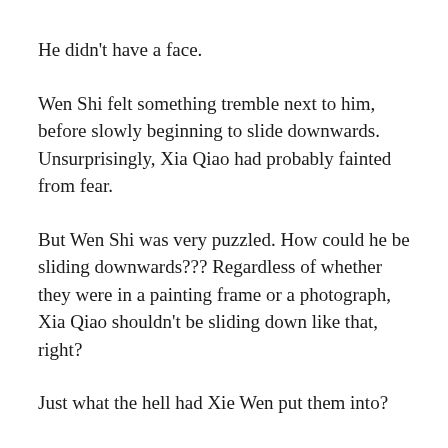He didn't have a face.
Wen Shi felt something tremble next to him, before slowly beginning to slide downwards. Unsurprisingly, Xia Qiao had probably fainted from fear.
But Wen Shi was very puzzled. How could he be sliding downwards??? Regardless of whether they were in a painting frame or a photograph, Xia Qiao shouldn't be sliding down like that, right?
Just what the hell had Xie Wen put them into?